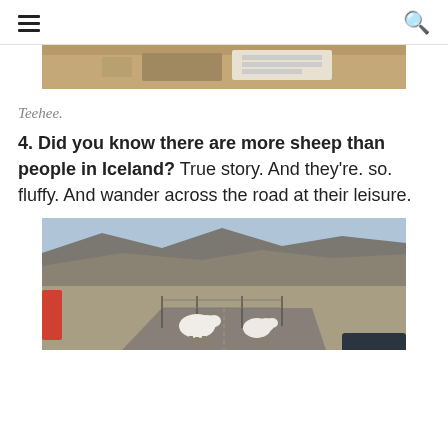[Figure (photo): Partial photo of a desk/office scene cropped at top, showing keyboard and boxes]
Teehee.
4. Did you know there are more sheep than people in Iceland? True story. And they're. so. fluffy. And wander across the road at their leisure.
[Figure (photo): Two fluffy white sheep standing on a rural road in Iceland, with barren hillside and mountains in the background]